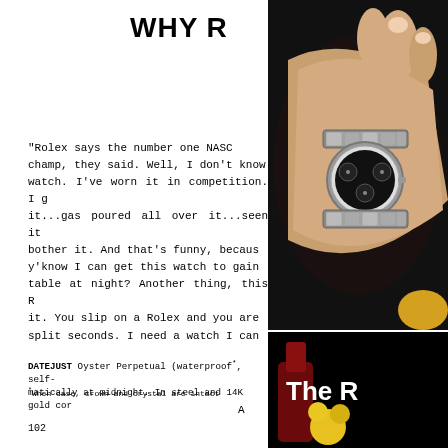WHY R
"Rolex says the number one NASCAR champ, they said. Well, I don't know watch. I've worn it in competition. I g it...gas poured all over it...seen it bother it. And that's funny, becaus y'know I can get this watch to gain table at night? Another thing, this R it. You slip on a Rolex and you are split seconds. I need a watch I can
DATEJUST Oyster Perpetual (waterproof*, self- matically at midnight. In steel and 14K gold cor
*When case, crown and crystal are intact
[Figure (photo): Close-up photo of a person wearing a Rolex Daytona watch on their wrist, with a dark background]
[Figure (photo): Black background with white text showing 'The Ro' (partially visible Rolex advertisement)]
A
102